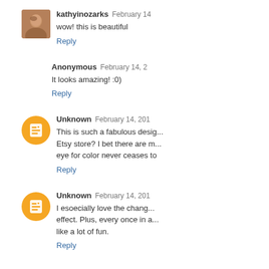kathyinozarks February 14
wow! this is beautiful
Reply
Anonymous February 14, 2
It looks amazing! :0)
Reply
Unknown February 14, 201
This is such a fabulous desig... Etsy store? I bet there are m... eye for color never ceases to
Reply
Unknown February 14, 201
I esoecially love the chang... effect. Plus, every once in a... like a lot of fun.
Reply